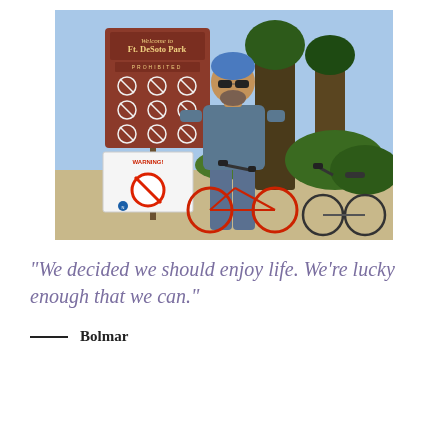[Figure (photo): A man wearing a blue helmet and sunglasses stands beside bicycles in front of a 'Welcome to Ft. DeSoto Park' sign with prohibited items listed and a NOAA warning sign below it. Outdoor park setting with trees and sandy ground.]
“We decided we should enjoy life. We’re lucky enough that we can.”
— Bolmar